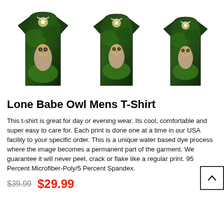[Figure (photo): Three views of an owl-print t-shirt displayed side by side. Each shirt shows a photo-realistic owl print on a dark green forest background.]
Lone Babe Owl Mens T-Shirt
This t-shirt is great for day or evening wear. Its cool, comfortable and super easy to care for. Each print is done one at a time in our USA facility to your specific order. This is a unique water based dye process where the image becomes a permanent part of the garment. We guarantee it will never peel, crack or flake like a regular print. 95 Percent Microfiber-Poly/5 Percent Spandex.
$39.99  $29.99